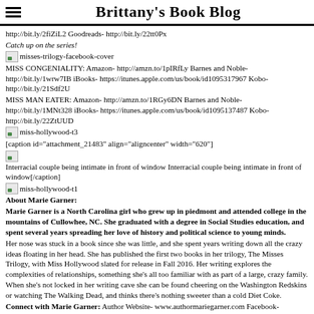Brittany's Book Blog
http://bit.ly/2fiZiL2 Goodreads- http://bit.ly/22tt0Px
Catch up on the series!
[Figure (illustration): misses-trilogy-facebook-cover image placeholder]
MISS CONGENIALITY: Amazon- http://amzn.to/1pIRfLy Barnes and Noble- http://bit.ly/1wrw7IB iBooks- https://itunes.apple.com/us/book/id1095317967 Kobo- http://bit.ly/21Sdf2U
MISS MAN EATER: Amazon- http://amzn.to/1RGy6DN Barnes and Noble- http://bit.ly/1MNt328 iBooks- https://itunes.apple.com/us/book/id1095137487 Kobo- http://bit.ly/22ZtUUD
[Figure (illustration): miss-hollywood-t3 image placeholder]
[caption id="attachment_21483" align="aligncenter" width="620"]
[Figure (photo): Interracial couple being intimate in front of window image placeholder]
Interracial couple being intimate in front of window[/caption]
[Figure (illustration): miss-hollywood-t1 image placeholder]
About Marie Garner:
Marie Garner is a North Carolina girl who grew up in piedmont and attended college in the mountains of Cullowhee, NC. She graduated with a degree in Social Studies education, and spent several years spreading her love of history and political science to young minds.
Her nose was stuck in a book since she was little, and she spent years writing down all the crazy ideas floating in her head. She has published the first two books in her trilogy, The Misses Trilogy, with Miss Hollywood slated for release in Fall 2016. Her writing explores the complexities of relationships, something she's all too familiar with as part of a large, crazy family. When she's not locked in her writing cave she can be found cheering on the Washington Redskins or watching The Walking Dead, and thinks there's nothing sweeter than a cold Diet Coke.
Connect with Marie Garner: Author Website- www.authormariegarner.com Facebook- www.facebook.com/authormariegarner Twitter-